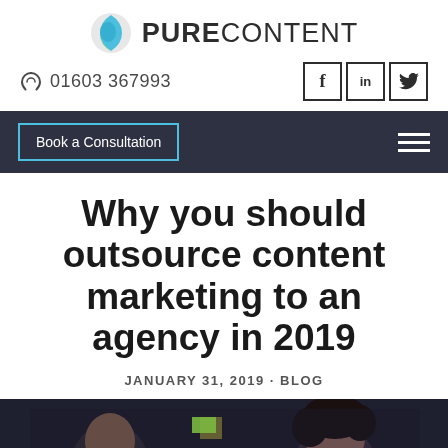[Figure (logo): PureContent logo with circular blue/green icon and bold text PURECONTENT]
01603 367993  f  in
Book a Consultation
Why you should outsource content marketing to an agency in 2019
JANUARY 31, 2019 - BLOG
[Figure (photo): Two people viewed from behind looking at a board/screen, one with glasses, one with dark curly hair]